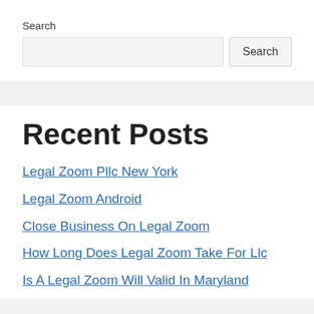Search
Search input and button
Recent Posts
Legal Zoom Pllc New York
Legal Zoom Android
Close Business On Legal Zoom
How Long Does Legal Zoom Take For Llc
Is A Legal Zoom Will Valid In Maryland